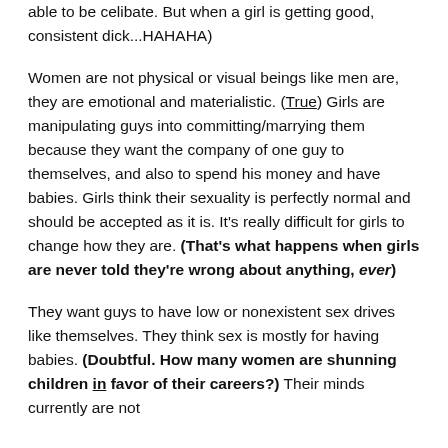able to be celibate. But when a girl is getting good, consistent dick...HAHAHA)
Women are not physical or visual beings like men are, they are emotional and materialistic. (True) Girls are manipulating guys into committing/marrying them because they want the company of one guy to themselves, and also to spend his money and have babies. Girls think their sexuality is perfectly normal and should be accepted as it is. It's really difficult for girls to change how they are. (That's what happens when girls are never told they're wrong about anything, ever)
They want guys to have low or nonexistent sex drives like themselves. They think sex is mostly for having babies. (Doubtful. How many women are shunning children in favor of their careers?) Their minds currently are not